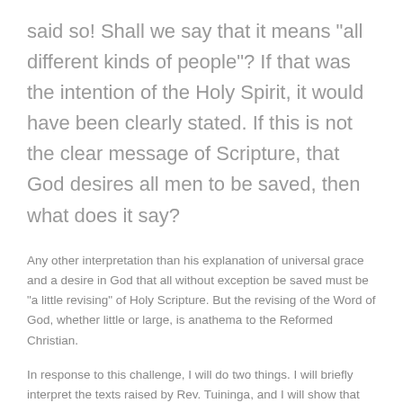said so! Shall we say that it means "all different kinds of people"? If that was the intention of the Holy Spirit, it would have been clearly stated. If this is not the clear message of Scripture, that God desires all men to be saved, then what does it say?
Any other interpretation than his explanation of universal grace and a desire in God that all without exception be saved must be "a little revising" of Holy Scripture. But the revising of the Word of God, whether little or large, is anathema to the Reformed Christian.
In response to this challenge, I will do two things. I will briefly interpret the texts raised by Rev. Tuininga, and I will show that the interpretation that I give has been the interpretation of these texts by the orthodox defenders of God's sovereign grace down through the ages.